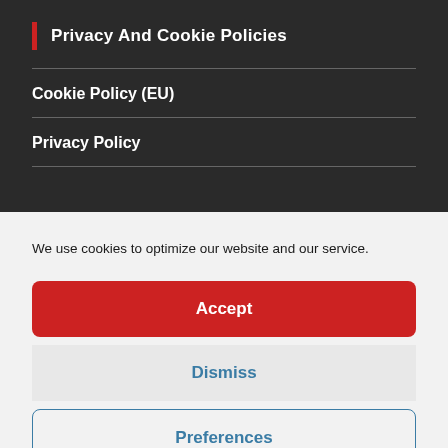Privacy And Cookie Policies
Cookie Policy (EU)
Privacy Policy
We use cookies to optimize our website and our service.
Accept
Dismiss
Preferences